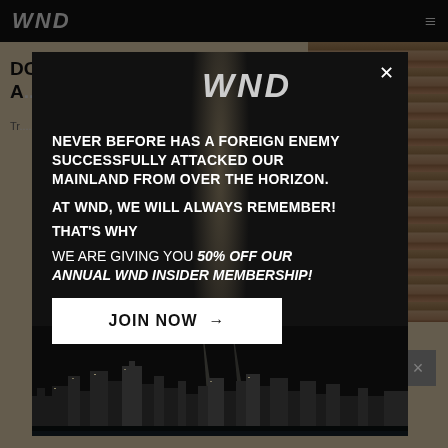WND ≡
DO...LES A...(T)
Tr...
[Figure (screenshot): WND website modal popup over article page. Modal has dark background with NYC skyline at bottom, WND logo, close button, and text: NEVER BEFORE HAS A FOREIGN ENEMY SUCCESSFULLY ATTACKED OUR MAINLAND FROM OVER THE HORIZON. AT WND, WE WILL ALWAYS REMEMBER! THAT'S WHY WE ARE GIVING YOU 50% OFF OUR ANNUAL WND INSIDER MEMBERSHIP! With a JOIN NOW → button.]